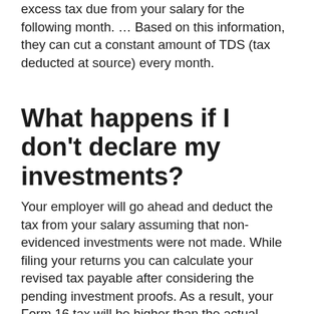excess tax due from your salary for the following month. … Based on this information, they can cut a constant amount of TDS (tax deducted at source) every month.
What happens if I don't declare my investments?
Your employer will go ahead and deduct the tax from your salary assuming that non-evidenced investments were not made. While filing your returns you can calculate your revised tax payable after considering the pending investment proofs. As a result, your Form 16 tax will be higher than the actual taxable payable.